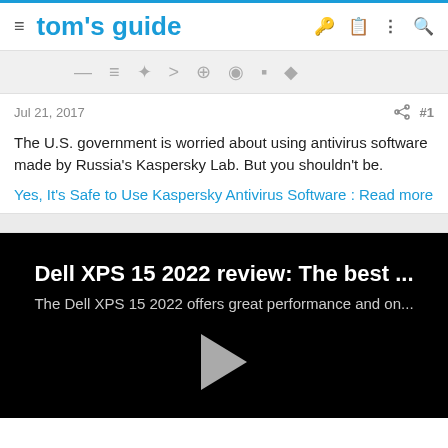≡  tom's guide
[Figure (screenshot): Partial navigation bar/tabs row in light gray, partially cut off at top]
Jul 21, 2017   #1
The U.S. government is worried about using antivirus software made by Russia's Kaspersky Lab. But you shouldn't be.
Yes, It's Safe to Use Kaspersky Antivirus Software : Read more
[Figure (screenshot): Video card with black background showing 'Dell XPS 15 2022 review: The best ...' title, subtitle 'The Dell XPS 15 2022 offers great performance and on...', and a play button triangle]